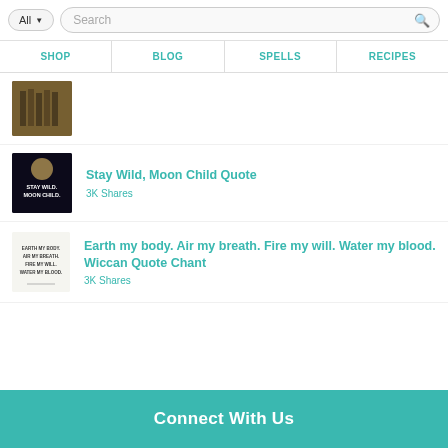All | Search
SHOP | BLOG | SPELLS | RECIPES
[Figure (photo): Partially visible thumbnail image of what appears to be wooden items or musical instruments]
[Figure (photo): Dark background image with text STAY WILD. MOON CHILD. and a moon]
Stay Wild, Moon Child Quote
3K Shares
[Figure (photo): White background image with small text: EARTH MY BODY. AIR MY BREATH. FIRE MY WILL. WATER MY BLOOD.]
Earth my body. Air my breath. Fire my will. Water my blood. Wiccan Quote Chant
3K Shares
Connect With Us